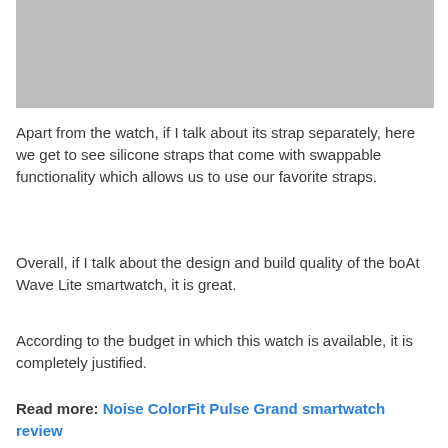[Figure (photo): Gray placeholder image area at the top of the page]
Apart from the watch, if I talk about its strap separately, here we get to see silicone straps that come with swappable functionality which allows us to use our favorite straps.
Overall, if I talk about the design and build quality of the boAt Wave Lite smartwatch, it is great.
According to the budget in which this watch is available, it is completely justified.
Read more: Noise ColorFit Pulse Grand smartwatch review